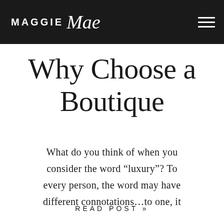MAGGIE Mae
Why Choose a Boutique
What do you think of when you consider the word “luxury”? To every person, the word may have different connotations…to one, it
READ POST »